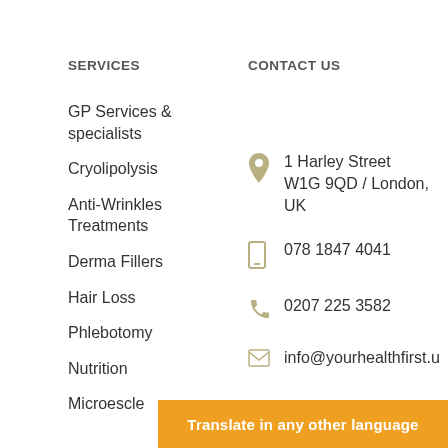SERVICES
CONTACT US
GP Services & specialists
Cryolipolysis
Anti-Wrinkles Treatments
Derma Fillers
Hair Loss
Phlebotomy
Nutrition
Microescle...
1 Harley Street W1G 9QD / London, UK
078 1847 4041
0207 225 3582
info@yourhealthfirst.u
Translate in any other language